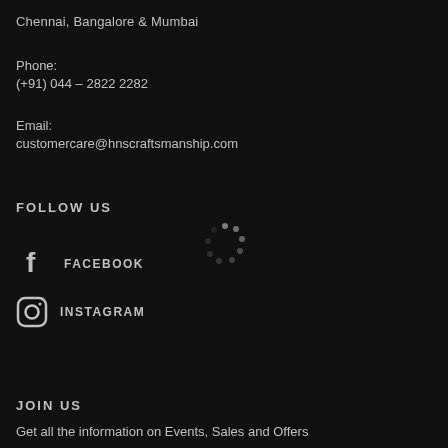Chennai, Bangalore & Mumbai
Phone:
(+91) 044 – 2822 2282
Email:
customercare@hnscraftsmanship.com
FOLLOW US
[Figure (other): Loading spinner dots in a circular arrangement]
FACEBOOK
INSTAGRAM
JOIN US
Get all the information on Events, Sales and Offers